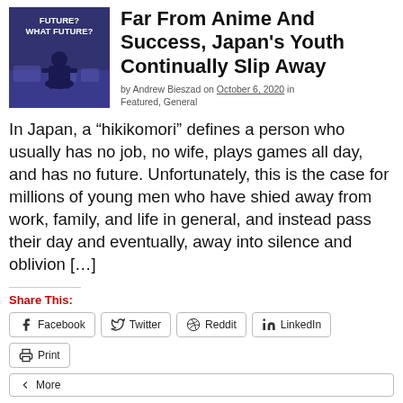[Figure (photo): Thumbnail image with dark blue background showing a person sitting on the floor with text overlay 'FUTURE? WHAT FUTURE?']
Far From Anime And Success, Japan's Youth Continually Slip Away
by Andrew Bieszad on October 6, 2020 in Featured, General
In Japan, a “hikikomori” defines a person who usually has no job, no wife, plays games all day, and has no future. Unfortunately, this is the case for millions of young men who have shied away from work, family, and life in general, and instead pass their day and eventually, away into silence and oblivion […]
Share This:
Facebook | Twitter | Reddit | LinkedIn | Print | More